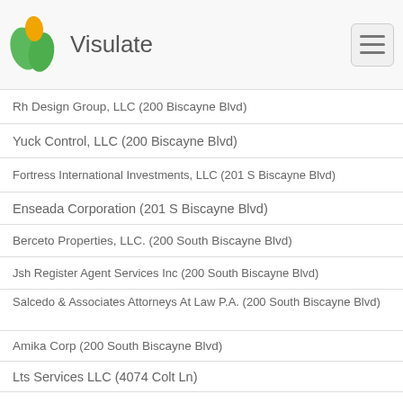Visulate
Rh Design Group, LLC (200 Biscayne Blvd)
Yuck Control, LLC (200 Biscayne Blvd)
Fortress International Investments, LLC (201 S Biscayne Blvd)
Enseada Corporation (201 S Biscayne Blvd)
Berceto Properties, LLC. (200 South Biscayne Blvd)
Jsh Register Agent Services Inc (200 South Biscayne Blvd)
Salcedo & Associates Attorneys At Law P.A. (200 South Biscayne Blvd)
Amika Corp (200 South Biscayne Blvd)
Lts Services LLC (4074 Colt Ln)
D & M Repairs And Services, LLC (4074 Colt Ln)